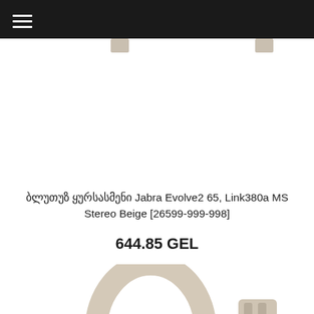≡ (hamburger menu)
[Figure (photo): Product image of Jabra Evolve2 65 Bluetooth headphones in beige - top connector view]
ბლუთუზ ყურსასმენი Jabra Evolve2 65, Link380a MS Stereo Beige [26599-999-998]
644.85 GEL
[Figure (photo): Product image of Jabra Evolve2 65 Bluetooth headphones in beige - ear cup close-up view]